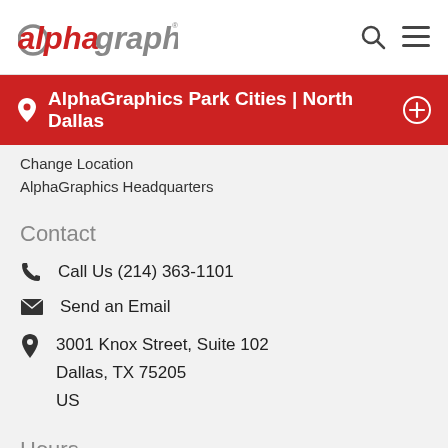[Figure (logo): AlphaGraphics logo — 'alpha' in red italic, 'graphics' in grey, with a circular O in 'alpha']
AlphaGraphics Park Cities | North Dallas
Change Location
AlphaGraphics Headquarters
Contact
Call Us (214) 363-1101
Send an Email
3001 Knox Street, Suite 102
Dallas, TX 75205
US
Hours